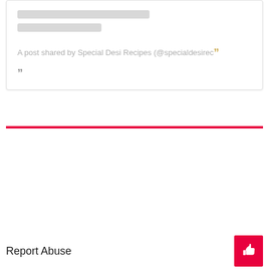[Figure (screenshot): Social media post card with skeleton loading lines and quote text reading 'A post shared by Special Desi Recipes (@specialdesirec' followed by a closing quotation mark]
FACEBOOK
Report Abuse